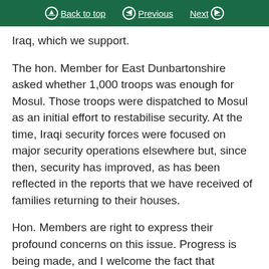Back to top | Previous | Next
Iraq, which we support.
The hon. Member for East Dunbartonshire asked whether 1,000 troops was enough for Mosul. Those troops were dispatched to Mosul as an initial effort to restabilise security. At the time, Iraqi security forces were focused on major security operations elsewhere but, since then, security has improved, as has been reflected in the reports that we have received of families returning to their houses.
Hon. Members are right to express their profound concerns on this issue. Progress is being made, and I welcome the fact that Christians are able to return to their homes, but there is much more to do. We will focus on that in our discussions and dialogue with the government of Iraq and elsewhere.